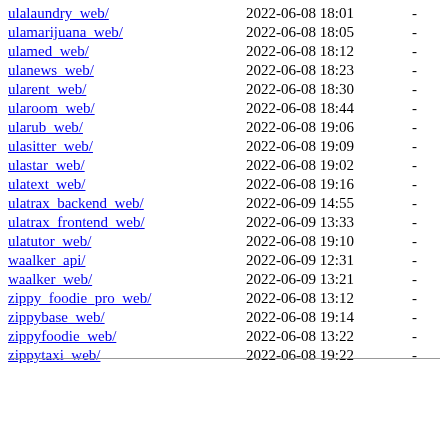| Name | Date | Size |
| --- | --- | --- |
| ulalaundry_web/ | 2022-06-08 18:01 | - |
| ulamarijuana_web/ | 2022-06-08 18:05 | - |
| ulamed_web/ | 2022-06-08 18:12 | - |
| ulanews_web/ | 2022-06-08 18:23 | - |
| ularent_web/ | 2022-06-08 18:30 | - |
| ularoom_web/ | 2022-06-08 18:44 | - |
| ularub_web/ | 2022-06-08 19:06 | - |
| ulasitter_web/ | 2022-06-08 19:09 | - |
| ulastar_web/ | 2022-06-08 19:02 | - |
| ulatext_web/ | 2022-06-08 19:16 | - |
| ulatrax_backend_web/ | 2022-06-09 14:55 | - |
| ulatrax_frontend_web/ | 2022-06-09 13:33 | - |
| ulatutor_web/ | 2022-06-08 19:10 | - |
| waalker_api/ | 2022-06-09 12:31 | - |
| waalker_web/ | 2022-06-09 13:21 | - |
| zippy_foodie_pro_web/ | 2022-06-08 13:12 | - |
| zippybase_web/ | 2022-06-08 19:14 | - |
| zippyfoodie_web/ | 2022-06-08 13:22 | - |
| zippytaxi_web/ | 2022-06-08 19:22 | - |